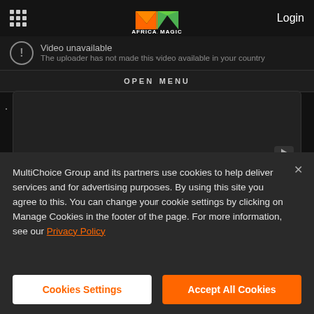[Figure (screenshot): Africa Magic website screenshot showing video unavailable message, open menu bar, a dark video player area with YouTube icon, an Up Next section, and a Finale: Kingdom wins Nigerian Idol thumbnail strip]
Video unavailable
The uploader has not made this video available in your country
OPEN MENU
Up Next ·
Finale: Kingdom wins Nigerian Idol–
MultiChoice Group and its partners use cookies to help deliver services and for advertising purposes. By using this site you agree to this. You can change your cookie settings by clicking on Manage Cookies in the footer of the page. For more information, see our Privacy Policy
Cookies Settings
Accept All Cookies